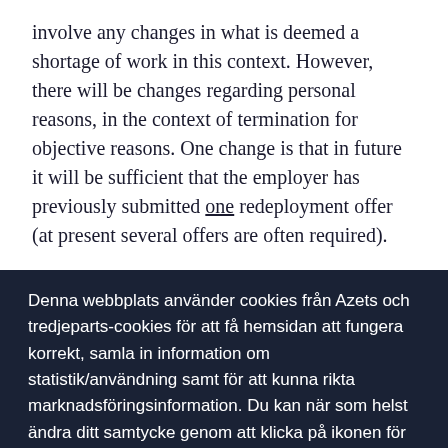involve any changes in what is deemed a shortage of work in this context. However, there will be changes regarding personal reasons, in the context of termination for objective reasons. One change is that in future it will be sufficient that the employer has previously submitted one redeployment offer (at present several offers are often required).
Denna webbplats använder cookies från Azets och tredjeparts-cookies för att få hemsidan att fungera korrekt, samla in information om statistik/användning samt för att kunna rikta marknadsföringsinformation. Du kan när som helst ändra ditt samtycke genom att klicka på ikonen för cookies i det nedre vänstra hörnet. För mer information läs vår cookies policy.